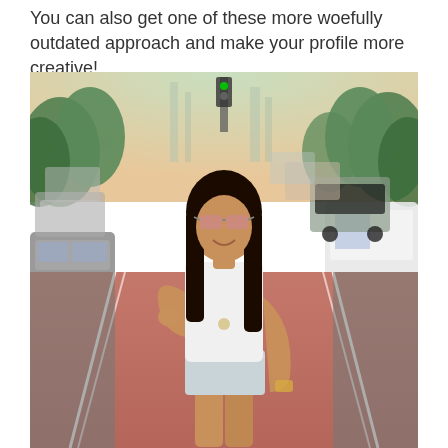You can also get one of these more woefully outdated approach and make your profile more creative!
[Figure (photo): A young woman with long dark hair and sunglasses wearing a white tank top and denim shorts, standing on a red bike lane in the middle of a busy city street with cars on both sides and green trees in the background.]